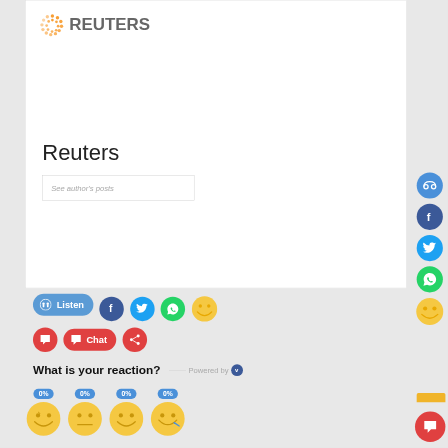[Figure (logo): Reuters logo with orange dot pattern and grey REUTERS text]
Reuters
See author's posts
[Figure (infographic): Social sharing buttons: Listen (blue), Facebook, Twitter, WhatsApp, emoji reaction, comment, Chat, share icons]
What is your reaction?
Powered by
[Figure (infographic): Four emoji reaction icons each showing 0% label below]